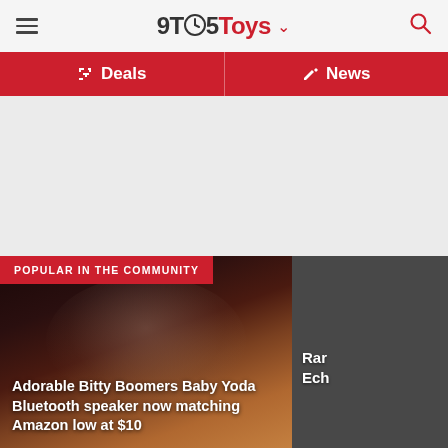9TO5Toys
Deals
News
[Figure (other): Advertisement / blank gray area]
POPULAR IN THE COMMUNITY
[Figure (photo): Baby Yoda Bitty Boomers Bluetooth speaker product photo with warm brown/orange background]
Adorable Bitty Boomers Baby Yoda Bluetooth speaker now matching Amazon low at $10
Rar Ech